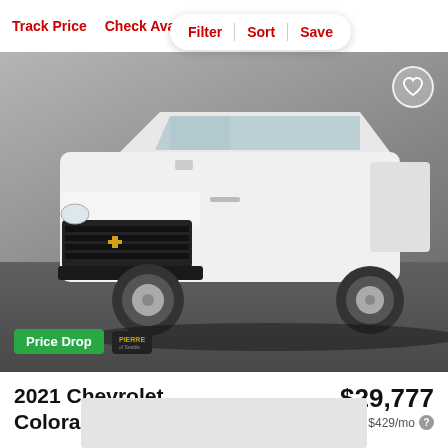Track Price   Check Availability
Filter  Sort  Save
[Figure (photo): White 2021 Chevrolet Colorado Work Truck pickup truck photographed indoors at a dealership. The Pierre Chevrolet of Seattle dealer badge is visible. A 'Price Drop' green badge appears in the lower left corner. A heart/favorite icon appears in the upper right corner.]
Price Drop
2021 Chevrolet Colorado Work Truck
$29,777
est. $429/mo